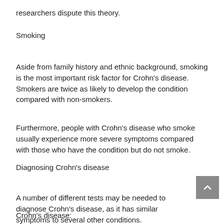researchers dispute this theory.
Smoking
Aside from family history and ethnic background, smoking is the most important risk factor for Crohn's disease. Smokers are twice as likely to develop the condition compared with non-smokers.
Furthermore, people with Crohn's disease who smoke usually experience more severe symptoms compared with those who have the condition but do not smoke.
Diagnosing Crohn's disease
A number of different tests may be needed to diagnose Crohn's disease, as it has similar symptoms to several other conditions.
Crohn's disease: